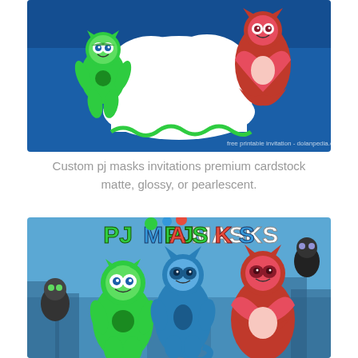[Figure (illustration): PJ Masks party invitation template showing Gekko (green character) on the left and Owlette (red character) on the right against a blue background with a white cloud-shaped blank space in the center. Watermark reads 'free printable invitation - dolanpedia.com'.]
Custom pj masks invitations premium cardstock matte, glossy, or pearlescent.
[Figure (illustration): PJ Masks promotional image showing the three main heroes: Gekko (green), Catboy (blue), and Owlette (red) in the foreground with the PJ Masks logo at the top and villain characters in the background against a blue city nightscape.]